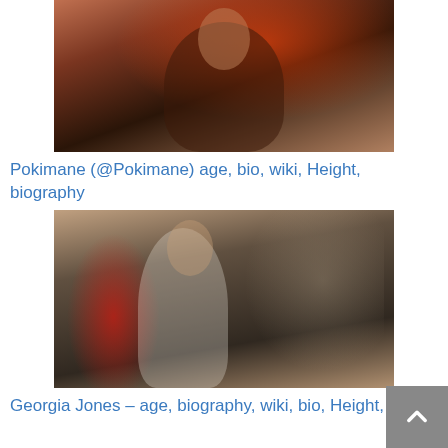[Figure (photo): Photo of Pokimane, a young woman with long brown hair sitting in a gaming chair, wearing a dark hoodie with red lighting on her face]
Pokimane (@Pokimane) age, bio, wiki, Height, biography
[Figure (photo): Photo of Georgia Jones, a young woman with long dark hair wearing a white top, posing with her arm raised, in front of a red letter S sign]
Georgia Jones – age, biography, wiki, bio, Height, videos